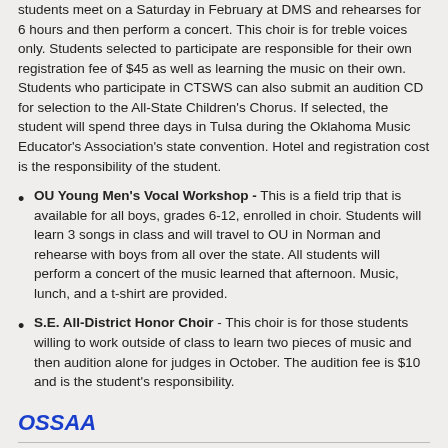students meet on a Saturday in February at DMS and rehearses for 6 hours and then perform a concert. This choir is for treble voices only. Students selected to participate are responsible for their own registration fee of $45 as well as learning the music on their own. Students who participate in CTSWS can also submit an audition CD for selection to the All-State Children's Chorus. If selected, the student will spend three days in Tulsa during the Oklahoma Music Educator's Association's state convention. Hotel and registration cost is the responsibility of the student.
OU Young Men's Vocal Workshop - This is a field trip that is available for all boys, grades 6-12, enrolled in choir. Students will learn 3 songs in class and will travel to OU in Norman and rehearse with boys from all over the state. All students will perform a concert of the music learned that afternoon. Music, lunch, and a t-shirt are provided.
S.E. All-District Honor Choir - This choir is for those students willing to work outside of class to learn two pieces of music and then audition alone for judges in October. The audition fee is $10 and is the student's responsibility.
OSSAA
The Durant High School choir program competes in Class 5A of the Oklahoma Secondary Schools Activities Association. OSSAA is the governing body that oversees rules, regulations, and information regarding school competitive activities in the state of Oklahoma.